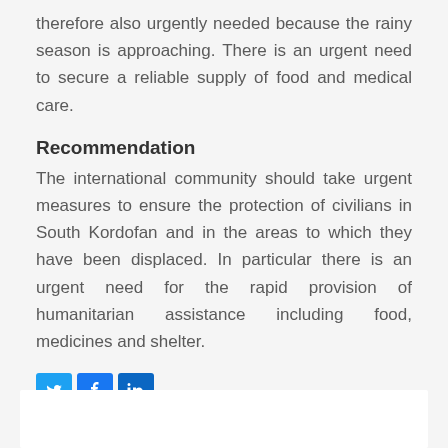therefore also urgently needed because the rainy season is approaching. There is an urgent need to secure a reliable supply of food and medical care.
Recommendation
The international community should take urgent measures to ensure the protection of civilians in South Kordofan and in the areas to which they have been displaced. In particular there is an urgent need for the rapid provision of humanitarian assistance including food, medicines and shelter.
[Figure (other): Social media sharing icons for Twitter, Facebook, and LinkedIn]
[Figure (other): White box at bottom of page, partially visible]